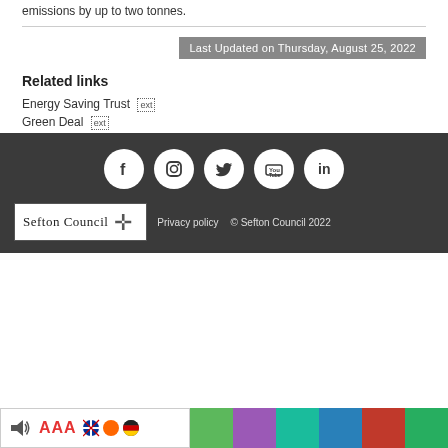emissions by up to two tonnes.
Last Updated on Thursday, August 25, 2022
Related links
Energy Saving Trust ext
Green Deal ext
[Figure (infographic): Social media icons: Facebook, Instagram, Twitter, YouTube, LinkedIn in white circles on dark grey background]
[Figure (logo): Sefton Council logo with cross emblem]
Privacy policy   © Sefton Council 2022
[Figure (infographic): Accessibility bar with speaker icon, AAA text size control, flag icons for languages, and colour strip]